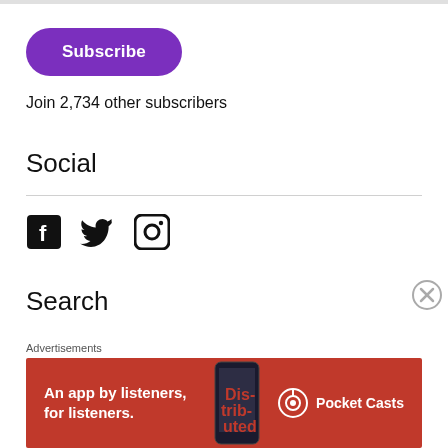[Figure (other): Subscribe button — purple rounded rectangle with white 'Subscribe' text]
Join 2,734 other subscribers
Social
[Figure (other): Social media icons: Facebook, Twitter, Instagram]
Search
Advertisements
[Figure (other): Pocket Casts advertisement banner: 'An app by listeners, for listeners.' on red background with phone graphic and Pocket Casts logo]